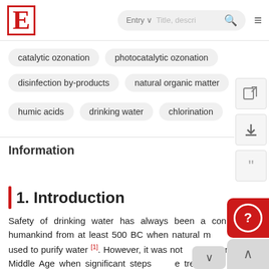E  Entry  [search]
catalytic ozonation
photocatalytic ozonation
disinfection by-products
natural organic matter
humic acids
drinking water
chlorination
Information
1. Introduction
Safety of drinking water has always been a concern for humankind from at least 500 BC when natural minerals were used to purify water [1]. However, it was not until the end of the Middle Age when significant steps in the treatment of water were noticed. In fact, the discovery of the microscope at the end of the 16th century were years later in